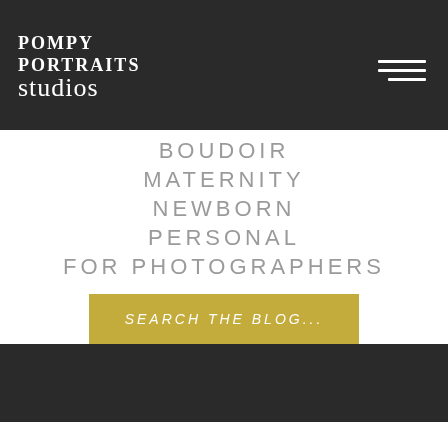POMPY PORTRAITS studios
BOUDOIR
MATERNITY
NEWBORN
PERSONAL
FOR PHOTOGRAPHERS
SEARCH THE BLOG...